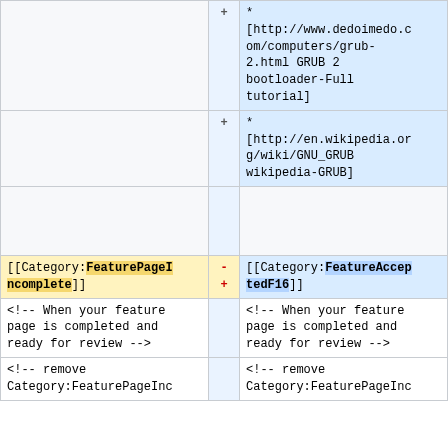| left | gutter | right |
| --- | --- | --- |
|  | + | * [http://www.dedoimedo.com/computers/grub-2.html GRUB 2 bootloader-Full tutorial] |
|  | + | * [http://en.wikipedia.org/wiki/GNU_GRUB wikipedia-GRUB] |
|  |  |  |
| [[Category:FeaturePageIncomplete]] | -/+ | [[Category:FeatureAcceptedF16]] |
| <!-- When your feature page is completed and ready for review --> |  | <!-- When your feature page is completed and ready for review --> |
| <!-- remove Category:FeaturePageInc |  | <!-- remove Category:FeaturePageInc |